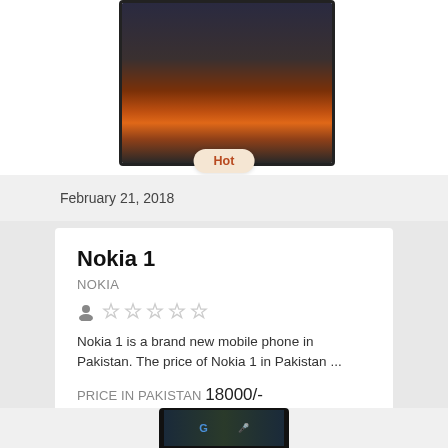[Figure (photo): Nokia phone screen showing a landscape/scenic photo with orange fire or lava glow, with a 'Hot' badge overlay at bottom]
February 21, 2018
Nokia 1
NOKIA
[Figure (other): Star rating widget showing user icon and 5 empty/unfilled stars]
Nokia 1 is a brand new mobile phone in Pakistan. The price of Nokia 1 in Pakistan ...
PRICE IN PAKISTAN 18000/-
Compare
Read more
Read reviews
Write review
[Figure (photo): Bottom of another phone showing Google search bar]